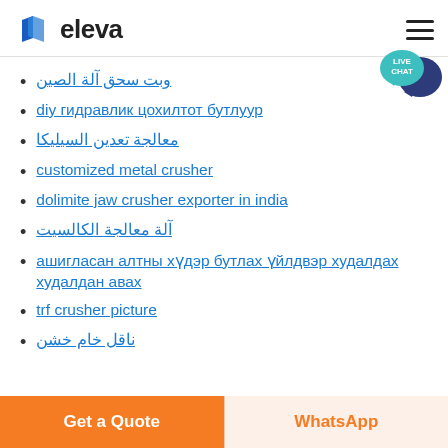eleva
وبت سحق آلة الصين
diy гидравлик цохилтот бутлуур
معالجة تعدين السيليكا
customized metal crusher
dolimite jaw crusher exporter in india
آلة معالجة الكالسيت
ашигласан алтны хүдэр бутлах үйлдвэр худалдах худалдан авах
trf crusher picture
ناقل خام خشن
Get a Quote | WhatsApp